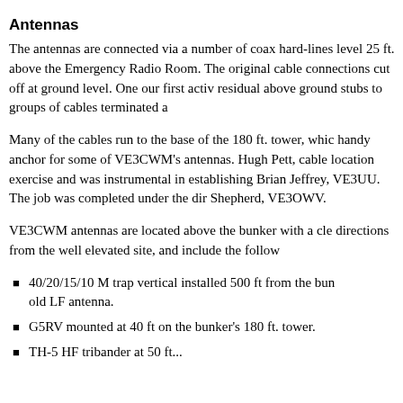Antennas
The antennas are connected via a number of coax hard-lines level 25 ft. above the Emergency Radio Room. The original cable connections cut off at ground level. One our first activ residual above ground stubs to groups of cables terminated a
Many of the cables run to the base of the 180 ft. tower, whic handy anchor for some of VE3CWM’s antennas. Hugh Pett, cable location exercise and was instrumental in establishing Brian Jeffrey, VE3UU. The job was completed under the dir Shepherd, VE3OWV.
VE3CWM antennas are located above the bunker with a cle directions from the well elevated site, and include the follow
40/20/15/10 M trap vertical installed 500 ft from the bun old LF antenna.
G5RV mounted at 40 ft on the bunker’s 180 ft. tower.
TH-5 HF tribander at 50 ft...